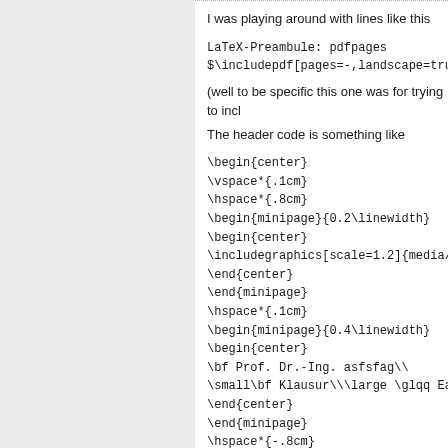I was playing around with lines like this
LaTeX-Preambule: pdfpages
$\includepdf[pages=-,landscape=true
(well to be specific this one was for trying to incl
The header code is something like
\begin{center}
\vspace*{.1cm}
\hspace*{.8cm}
\begin{minipage}{0.2\linewidth}
\begin{center}
\includegraphics[scale=1.2]{media/b
\end{center}
\end{minipage}
\hspace*{.1cm}
\begin{minipage}{0.4\linewidth}
\begin{center}
\bf Prof. Dr.-Ing. asfsfag\\
\small\bf Klausur\\\large \glqq Eas
\end{center}
\end{minipage}
\hspace*{-.8cm}
\begin{minipage}{0.3\linewidth}